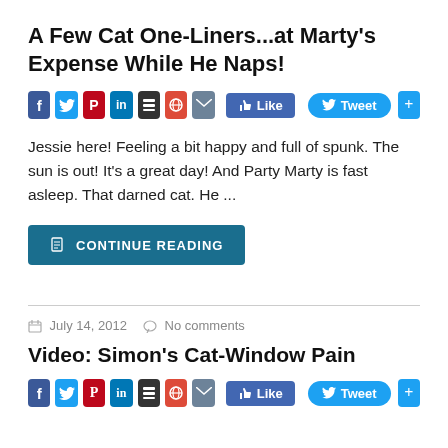A Few Cat One-Liners...at Marty’s Expense While He Naps!
[Figure (other): Social sharing bar with Facebook, Twitter, Pinterest, LinkedIn, Buffer, Google+, Email icons, a Like button and Tweet button]
Jessie here! Feeling a bit happy and full of spunk. The sun is out! It’s a great day! And Party Marty is fast asleep. That darned cat. He ...
CONTINUE READING
July 14, 2012   No comments
Video: Simon’s Cat-Window Pain
[Figure (other): Social sharing bar with Facebook, Twitter, Pinterest, LinkedIn, Buffer, Google+, Email icons, a Like button and Tweet button]